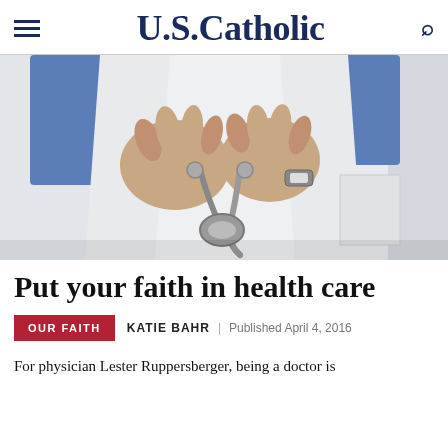U.S.Catholic
[Figure (photo): Close-up of a physician in a white lab coat holding a stethoscope with both hands.]
Put your faith in health care
OUR FAITH   KATIE BAHR   Published April 4, 2016
For physician Lester Ruppersberger, being a doctor is